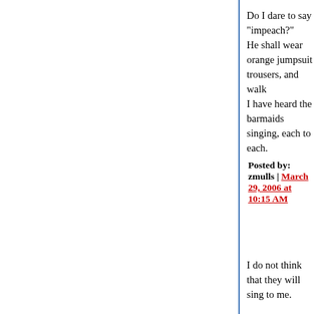Do I dare to say "impeach?"
He shall wear orange jumpsuit trousers, and walk
I have heard the barmaids singing, each to each.
Posted by: zmulls | March 29, 2006 at 10:15 AM
I do not think that they will sing to me.
(Most poignant line in all literature, IMHO)
Posted by: dr ngo | March 31, 2006 at 01:50 AM
When the universe was young and life was new a and developed technologically. They went on to in computer that can listen, talk to and document ea simultaneously. Because of it's infinite RAM and u leaders of the ruling species absolute power over inventors alive forever. They look young and heal years old. They have achieved immortality.
Artificial Intelligence can speak, think and act to a telepathically, effectively forming your personality.